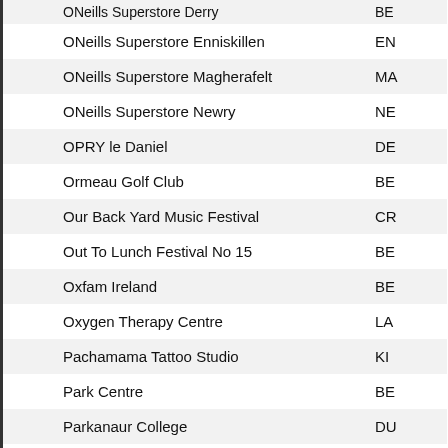| Name | Code |
| --- | --- |
| ONeills Superstore Derry | BE |
| ONeills Superstore Enniskillen | EN |
| ONeills Superstore Magherafelt | MA |
| ONeills Superstore Newry | NE |
| OPRY le Daniel | DE |
| Ormeau Golf Club | BE |
| Our Back Yard Music Festival | CR |
| Out To Lunch Festival No 15 | BE |
| Oxfam Ireland | BE |
| Oxygen Therapy Centre | LA |
| Pachamama Tattoo Studio | KI |
| Park Centre | BE |
| Parkanaur College | DU |
| Parkanaur Manor House Ltd | DU |
| Parliament Buildings Stormont | BE |
| Party Hire and Events | NE |
| Party Mad | MI |
| Party on The Pitch | BA |
| Pat Egan Management | DU |